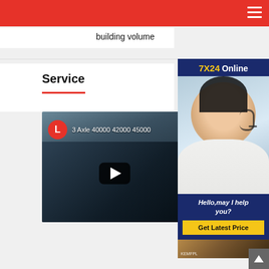building volume
Service
[Figure (screenshot): 7X24 Online sidebar widget with photo of woman with headset and 'Hello, may I help you?' and 'Get Latest Price' button]
[Figure (screenshot): YouTube-style video thumbnail showing '3 Axle 40000 42000 45000' title with red circle L icon, worker welding in dark background, play button overlay]
[Figure (photo): Factory/warehouse scene thumbnail in bottom right sidebar]